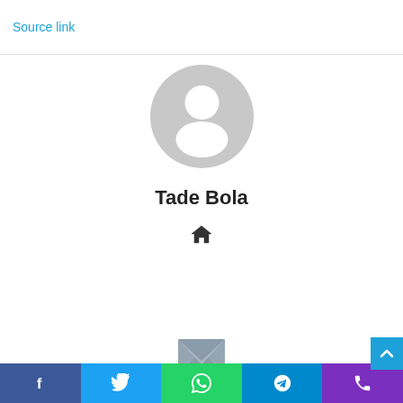Source link
[Figure (illustration): Gray default avatar/profile placeholder icon — circular silhouette of a person]
Tade Bola
[Figure (illustration): Home icon (house symbol) in dark color]
[Figure (illustration): Gray envelope/mail icon]
With Product You Purchase
[Figure (illustration): Social share bar at bottom: Facebook, Twitter, WhatsApp, Telegram, Phone icons on colored backgrounds]